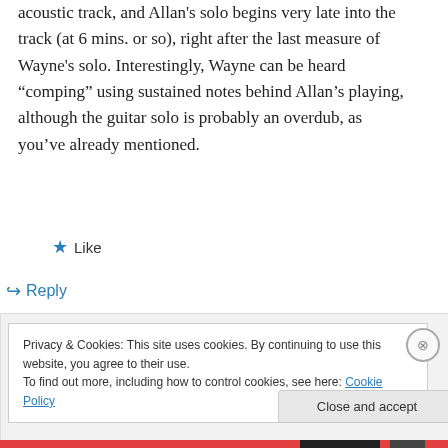acoustic track, and Allan's solo begins very late into the track (at 6 mins. or so), right after the last measure of Wayne's solo. Interestingly, Wayne can be heard “comping” using sustained notes behind Allan’s playing, although the guitar solo is probably an overdub, as you’ve already mentioned.
★ Like
↪ Reply
Privacy & Cookies: This site uses cookies. By continuing to use this website, you agree to their use.
To find out more, including how to control cookies, see here: Cookie Policy
Close and accept